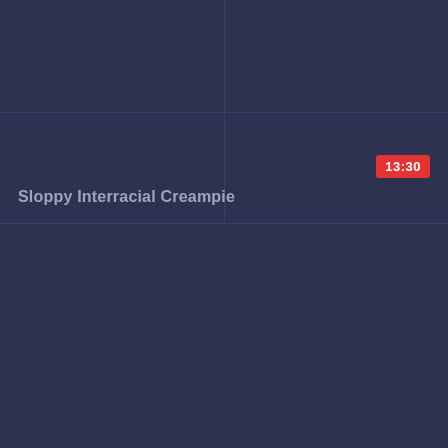[Figure (screenshot): Video thumbnail card with dark navy background, grid lines dividing into quadrants]
13:30
Sloppy Interracial Creampie
[Figure (screenshot): Second video thumbnail card with dark navy background, grid lines dividing into quadrants]